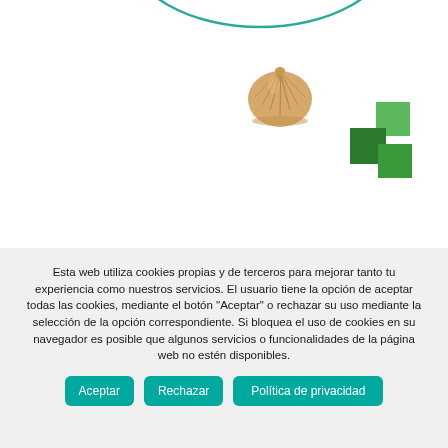[Figure (illustration): Partial teal oval/ellipse outline at top of page, clipped at top edge]
[Figure (illustration): Photorealistic scallop shell illustration, tan/beige colored]
[Figure (logo): Green square block logo made of overlapping squares in dark and light green]
Esta web utiliza cookies propias y de terceros para mejorar tanto tu experiencia como nuestros servicios. El usuario tiene la opción de aceptar todas las cookies, mediante el botón "Aceptar" o rechazar su uso mediante la selección de la opción correspondiente. Si bloquea el uso de cookies en su navegador es posible que algunos servicios o funcionalidades de la página web no estén disponibles.